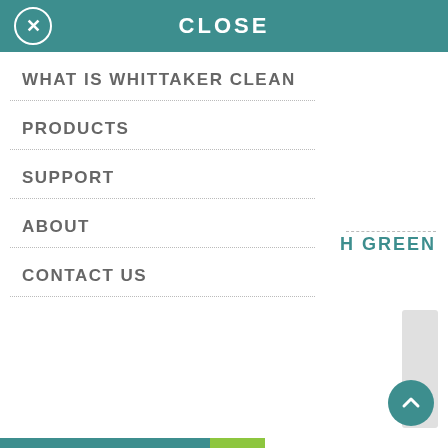CLOSE
WHAT IS WHITTAKER CLEAN
PRODUCTS
SUPPORT
ABOUT
CONTACT US
H GREEN